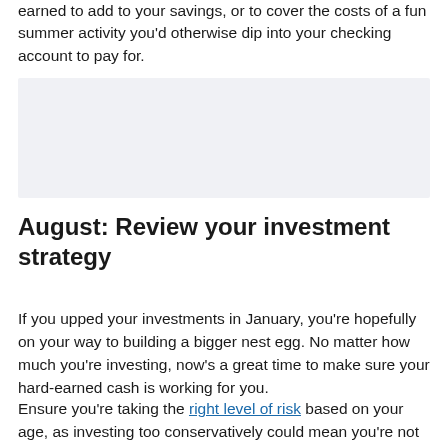earned to add to your savings, or to cover the costs of a fun summer activity you'd otherwise dip into your checking account to pay for.
[Figure (other): Light gray placeholder image block]
August: Review your investment strategy
If you upped your investments in January, you're hopefully on your way to building a bigger nest egg. No matter how much you're investing, now's a great time to make sure your hard-earned cash is working for you.
Ensure you're taking the right level of risk based on your age, as investing too conservatively could mean you're not going to earn enough, while investing too aggressively auto...